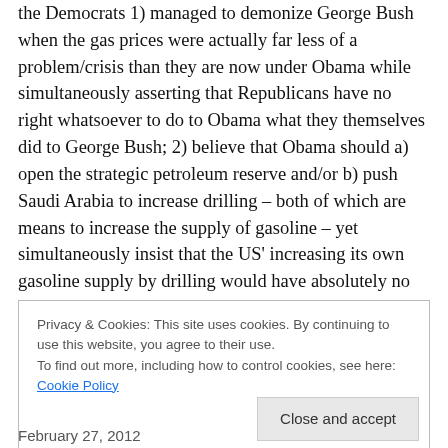the Democrats 1) managed to demonize George Bush when the gas prices were actually far less of a problem/crisis than they are now under Obama while simultaneously asserting that Republicans have no right whatsoever to do to Obama what they themselves did to George Bush; 2) believe that Obama should a) open the strategic petroleum reserve and/or b) push Saudi Arabia to increase drilling – both of which are means to increase the supply of gasoline – yet simultaneously insist that the US' increasing its own gasoline supply by drilling would have absolutely no impact on gas prices whatsoever; 3) are
Privacy & Cookies: This site uses cookies. By continuing to use this website, you agree to their use.
To find out more, including how to control cookies, see here: Cookie Policy
Close and accept
February 27, 2012